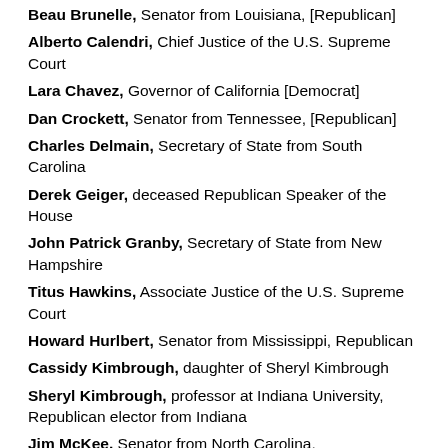Beau Brunelle, Senator from Louisiana, [Republican]
Alberto Calendri, Chief Justice of the U.S. Supreme Court
Lara Chavez, Governor of California [Democrat]
Dan Crockett, Senator from Tennessee, [Republican]
Charles Delmain, Secretary of State from South Carolina
Derek Geiger, deceased Republican Speaker of the House
John Patrick Granby, Secretary of State from New Hampshire
Titus Hawkins, Associate Justice of the U.S. Supreme Court
Howard Hurlbert, Senator from Mississippi, Republican
Cassidy Kimbrough, daughter of Sheryl Kimbrough
Sheryl Kimbrough, professor at Indiana University, Republican elector from Indiana
Jim McKee, Senator from North Carolina, [REPUBLICAN]
Bob Merriman, former Chief of Staff to Senator